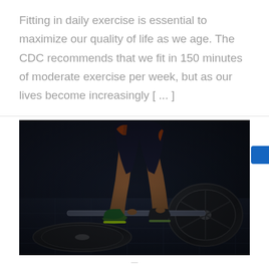Fitting in daily exercise is essential to maximize our quality of life as we age. The CDC recommends that we fit in 150 minutes of moderate exercise per week, but as our lives become increasingly [...]
[Figure (photo): Person bent over performing a deadlift with a barbell loaded with large weight plates on a dark rubber gym floor. The person is wearing dark shorts with orange stripes and green/black athletic shoes.]